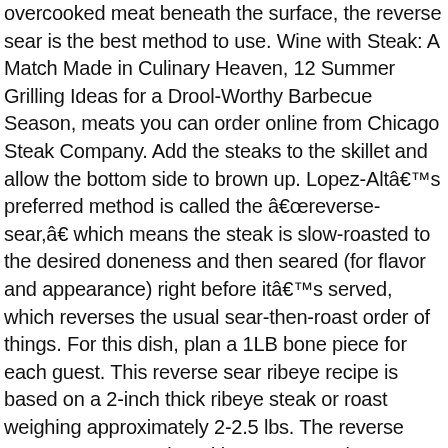overcooked meat beneath the surface, the reverse sear is the best method to use. Wine with Steak: A Match Made in Culinary Heaven, 12 Summer Grilling Ideas for a Drool-Worthy Barbecue Season, meats you can order online from Chicago Steak Company. Add the steaks to the skillet and allow the bottom side to brown up. Lopez-Altâs preferred method is called the âreverse-sear,â which means the steak is slow-roasted to the desired doneness and then seared (for flavor and appearance) right before itâs served, which reverses the usual sear-then-roast order of things. For this dish, plan a 1LB bone piece for each guest. This reverse sear ribeye recipe is based on a 2-inch thick ribeye steak or roast weighing approximately 2-2.5 lbs. The reverse sear. Remove steak and let rest 5-10 minutes. Cook for 1-2 minutes total, flipping a couple times, until a nice crust has formed. Iâve got the tips and tricks to show you how to get outstanding smoky goodness from your Tomahawk Ribeye. Your basic Tomahawk Steak is simply a bone-in, three-pound ribeye. A reverse sear ribeye steak is a full-flavored, juicy, tender cut of meat, which you first roast in the oven and then pan-sear in a skillet on the stove.